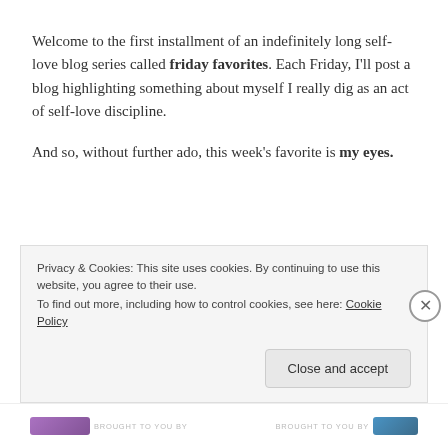Welcome to the first installment of an indefinitely long self-love blog series called friday favorites. Each Friday, I'll post a blog highlighting something about myself I really dig as an act of self-love discipline.
And so, without further ado, this week's favorite is my eyes.
[Figure (photo): Partially visible photo showing a dark upper portion and skin/hair tones in the lower portion, partially obscured by a cookie consent banner.]
Privacy & Cookies: This site uses cookies. By continuing to use this website, you agree to their use.
To find out more, including how to control cookies, see here: Cookie Policy
Close and accept
BROUGHT TO YOU BY